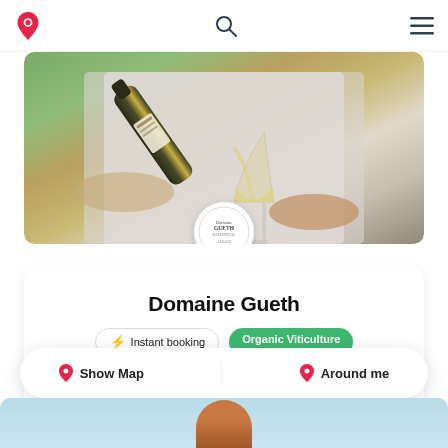Navigation bar with logo, search icon, and menu icon
[Figure (photo): Person pouring white wine from a dark bottle into a wine glass, wearing a white shirt. A circular winery badge/logo overlaps the bottom center of the image.]
Domaine Gueth
Instant booking | Organic Viticulture
Price: from 9,00 € | 1-20
4.5/5 (2 reviews)
Show Map | Around me